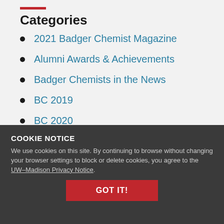Categories
2021 Badger Chemist Magazine
Alumni Awards & Achievements
Badger Chemists in the News
BC 2019
BC 2020
COOKIE NOTICE
We use cookies on this site. By continuing to browse without changing your browser settings to block or delete cookies, you agree to the UW–Madison Privacy Notice.
Grad Achievements
Grad Spotlight